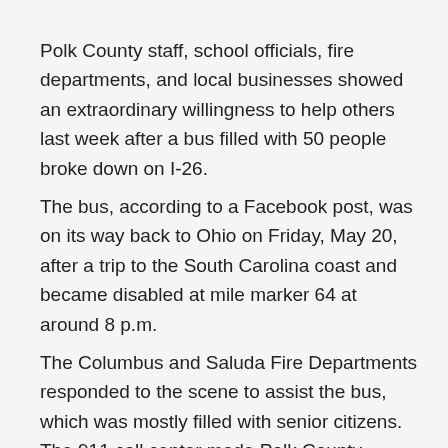Polk County staff, school officials, fire departments, and local businesses showed an extraordinary willingness to help others last week after a bus filled with 50 people broke down on I-26.
The bus, according to a Facebook post, was on its way back to Ohio on Friday, May 20, after a trip to the South Carolina coast and became disabled at mile marker 64 at around 8 p.m.
The Columbus and Saluda Fire Departments responded to the scene to assist the bus, which was mostly filled with senior citizens. The 911 call center made Polk County Emergency Management Director Bobby Arledge aware of the situation and he began to make calls.